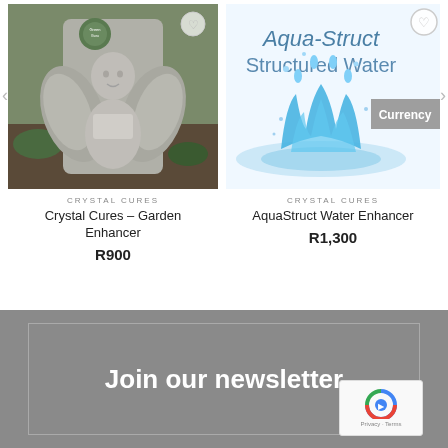[Figure (photo): Stone angel cherub garden statue with wings, set against a garden background with green plants]
[Figure (photo): Aqua-Struct Structured Water product image with blue water splash and text. A 'Currency' badge appears on the right side. A wishlist heart icon is in the top right corner.]
CRYSTAL CURES
Crystal Cures – Garden Enhancer
R900
CRYSTAL CURES
AquaStruct Water Enhancer
R1,300
Join our newsletter